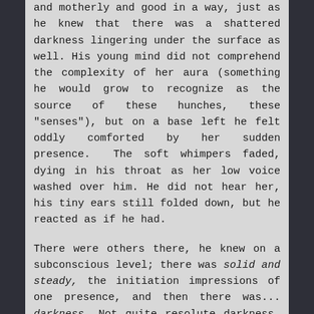and motherly and good in a way, just as he knew that there was a shattered darkness lingering under the surface as well. His young mind did not comprehend the complexity of her aura (something he would grow to recognize as the source of these hunches, these "senses"), but on a base left he felt oddly comforted by her sudden presence. The soft whimpers faded, dying in his throat as her low voice washed over him. He did not hear her, his tiny ears still folded down, but he reacted as if he had.
There were others there, he knew on a subconscious level; there was solid and steady, the initiation impressions of one presence, and then there was... darkness. Not quite resolute darkness, but it felt like a dark cloud drifting over the group, and yet it was not alarming. It felt almost familiar, in an odd way; as if he were used to the shadows, the darkness, as if something in his tiny heart reached out to the dark